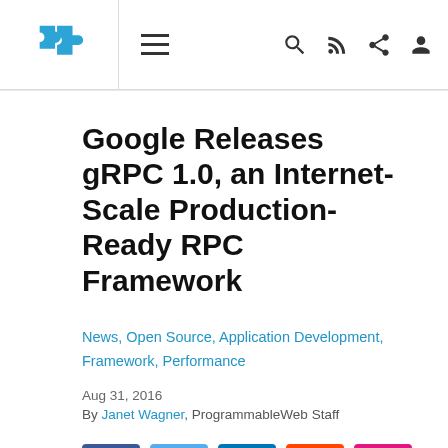ProgrammableWeb navigation bar with logo, menu, search, RSS, share, and profile icons
Google Releases gRPC 1.0, an Internet-Scale Production-Ready RPC Framework
News, Open Source, Application Development, Framework, Performance
Aug 31, 2016
By Janet Wagner, ProgrammableWeb Staff
[Figure (infographic): Social sharing buttons: Facebook, Twitter, LinkedIn, Reddit, Email]